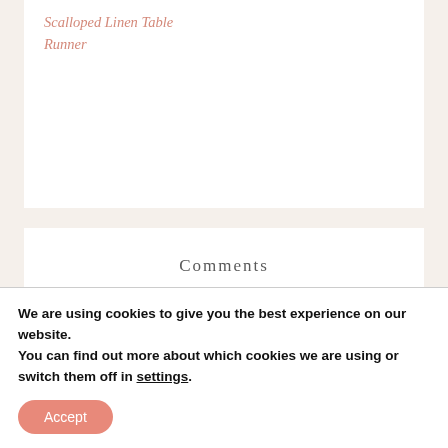Scalloped Linen Table Runner
Comments
SARAH says
NOVEMBER 25,
We are using cookies to give you the best experience on our website.
You can find out more about which cookies we are using or switch them off in settings.